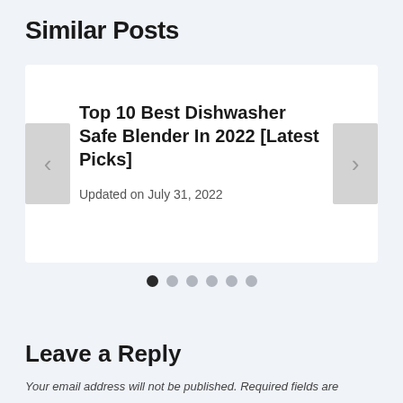Similar Posts
[Figure (screenshot): A carousel card showing a blog post titled 'Top 10 Best Dishwasher Safe Blender In 2022 [Latest Picks]' with left and right navigation arrows. Updated on July 31, 2022.]
Updated on July 31, 2022
Leave a Reply
Your email address will not be published. Required fields are